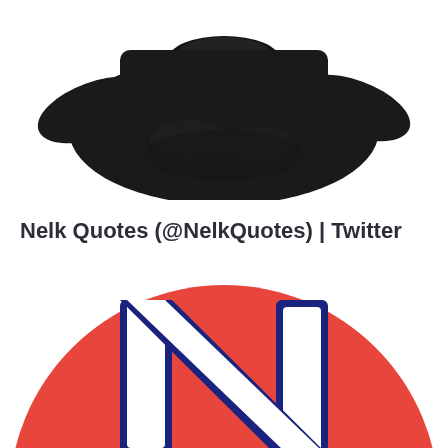[Figure (photo): A black crewneck sweatshirt photographed from above on a white background, showing the upper body and sleeves folded inward.]
Nelk Quotes (@NelkQuotes) | Twitter
[Figure (logo): A circular red logo with a large white letter 'N' outlined in dark navy/blue, representing the Nelk Quotes Twitter profile picture.]